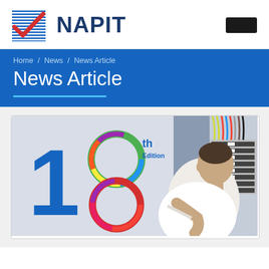NAPIT
Home / News / News Article
News Article
[Figure (photo): 18th Edition electrical wiring regulations book cover illustration showing the number '18th Edition' with colorful circular rings, alongside a photo of an electrician working on a consumer unit/fuse board with colored wiring.]